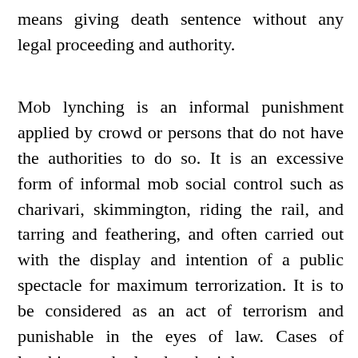means giving death sentence without any legal proceeding and authority.
Mob lynching is an informal punishment applied by crowd or persons that do not have the authorities to do so. It is an excessive form of informal mob social control such as charivari, skimmington, riding the rail, and tarring and feathering, and often carried out with the display and intention of a public spectacle for maximum terrorization. It is to be considered as an act of terrorism and punishable in the eyes of law. Cases of lynchings and related mob violence